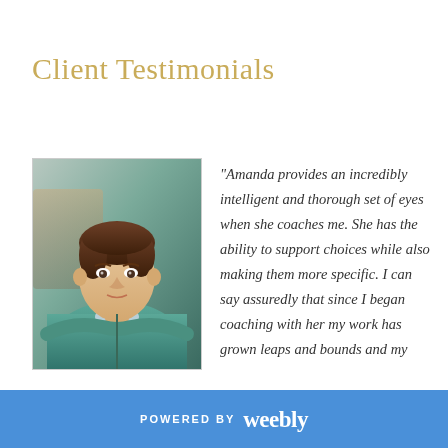Client Testimonials
[Figure (photo): Headshot of a young man with brown hair wearing a teal/green zip-up jacket, posed with arms crossed, looking at the camera]
"Amanda provides an incredibly intelligent and thorough set of eyes when she coaches me. She has the ability to support choices while also making them more specific. I can say assuredly that since I began coaching with her my work has grown leaps and bounds and my
POWERED BY weebly